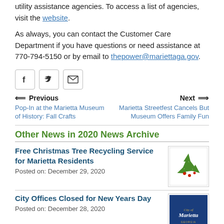utility assistance agencies. To access a list of agencies, visit the website.
As always, you can contact the Customer Care Department if you have questions or need assistance at 770-794-5150 or by email to thepower@mariettaga.gov.
[Figure (other): Social media sharing icons: Facebook, Twitter, Email]
Previous | Pop-In at the Marietta Museum of History: Fall Crafts
Next | Marietta Streetfest Cancels But Museum Offers Family Fun
Other News in 2020 News Archive
Free Christmas Tree Recycling Service for Marietta Residents
Posted on: December 29, 2020
[Figure (illustration): Green recycling arrows logo with red berries, Christmas tree recycling icon]
City Offices Closed for New Years Day
Posted on: December 28, 2020
[Figure (logo): City of Marietta logo on blue background]